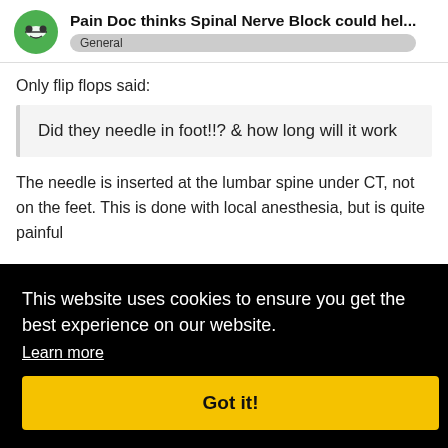Pain Doc thinks Spinal Nerve Block could hel... General
Only flip flops said:
Did they needle in foot!!? & how long will it work
The needle is inserted at the lumbar spine under CT, not on the feet. This is done with local anesthesia, but is quite painful
This website uses cookies to ensure you get the best experience on our website. Learn more
Got it!
Suggested Topics